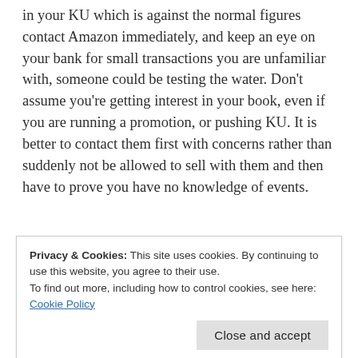in your KU which is against the normal figures contact Amazon immediately, and keep an eye on your bank for small transactions you are unfamiliar with, someone could be testing the water. Don't assume you're getting interest in your book, even if you are running a promotion, or pushing KU. It is better to contact them first with concerns rather than suddenly not be allowed to sell with them and then have to prove you have no knowledge of events.
This experience has really opened my eyes. The
Privacy & Cookies: This site uses cookies. By continuing to use this website, you agree to their use.
To find out more, including how to control cookies, see here: Cookie Policy
catch up to them. The events are too closely linked